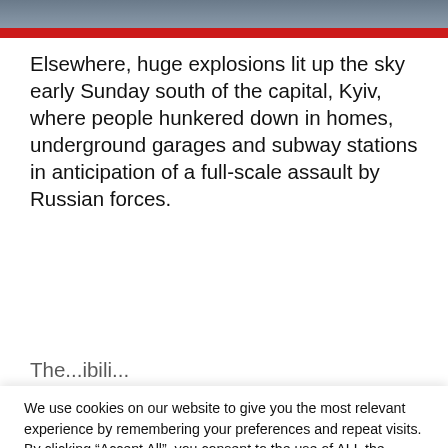[Figure (photo): Photo of people or vehicles at top of page with red bar beneath]
Elsewhere, huge explosions lit up the sky early Sunday south of the capital, Kyiv, where people hunkered down in homes, underground garages and subway stations in anticipation of a full-scale assault by Russian forces.
The... (partially visible line cut off)
We use cookies on our website to give you the most relevant experience by remembering your preferences and repeat visits. By clicking “Accept All”, you consent to the use of ALL the cookies. However, you may visit "Cookie Settings" to provide a controlled consent.